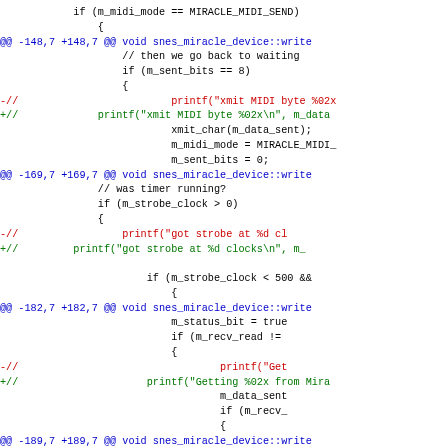[Figure (screenshot): Git diff output showing source code changes in C++ for snes_miracle_device, with removed lines in red, added lines in green, context lines in black, and diff headers in blue. The diff shows changes related to printf debugging statements for MIDI and strobe operations.]